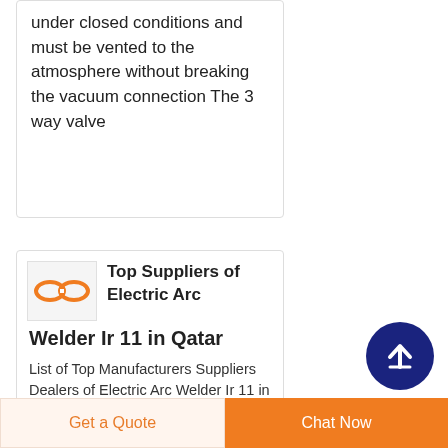under closed conditions and must be vented to the atmosphere without breaking the vacuum connection The 3 way valve
Top Suppliers of Electric Arc Welder Ir 11 in Qatar
List of Top Manufacturers Suppliers Dealers of Electric Arc Welder Ir 11 in Qatar
Scrap Buyers
Get a Quote
Chat Now